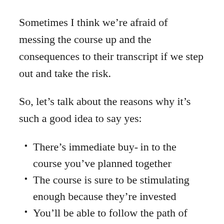Sometimes I think we’re afraid of messing the course up and the consequences to their transcript if we step out and take the risk.
So, let’s talk about the reasons why it’s such a good idea to say yes:
There’s immediate buy-​in to the course you’ve planned together
The course is sure to be stimulating enough because they’re invested
You’ll be able to follow the path of interest within the theme they’ve chosen
You and your teen can come up with